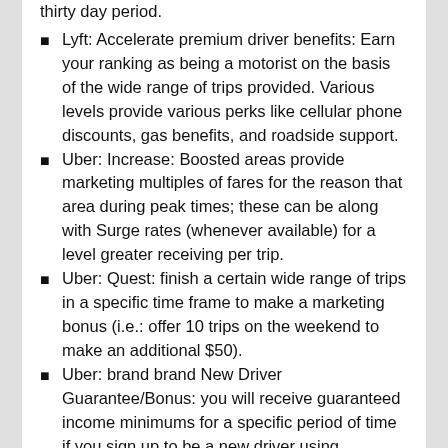thirty day period.
Lyft: Accelerate premium driver benefits: Earn your ranking as being a motorist on the basis of the wide range of trips provided. Various levels provide various perks like cellular phone discounts, gas benefits, and roadside support.
Uber: Increase: Boosted areas provide marketing multiples of fares for the reason that area during peak times; these can be along with Surge rates (whenever available) for a level greater receiving per trip.
Uber: Quest: finish a certain wide range of trips in a specific time frame to make a marketing bonus (i.e.: offer 10 trips on the weekend to make an additional $50).
Uber: brand brand New Driver Guarantee/Bonus: you will receive guaranteed income minimums for a specific period of time if you sign up to be a new driver using available promotional links. One particular advertising is that in the event your profits for the first 200 trips* ( maybe perhaps perhaps maybe not including costs, recommendations, or